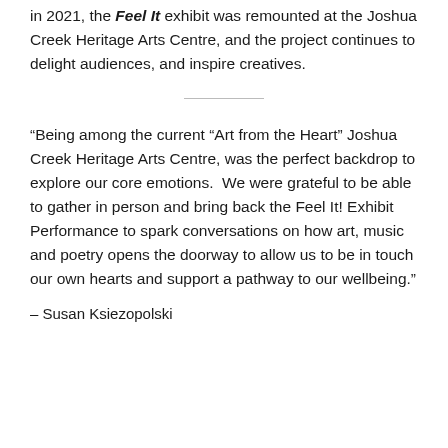in 2021, the Feel It exhibit was remounted at the Joshua Creek Heritage Arts Centre, and the project continues to delight audiences, and inspire creatives.
“Being among the current “Art from the Heart” Joshua Creek Heritage Arts Centre, was the perfect backdrop to explore our core emotions. We were grateful to be able to gather in person and bring back the Feel It! Exhibit Performance to spark conversations on how art, music and poetry opens the doorway to allow us to be in touch our own hearts and support a pathway to our wellbeing.”
– Susan Ksiezopolski